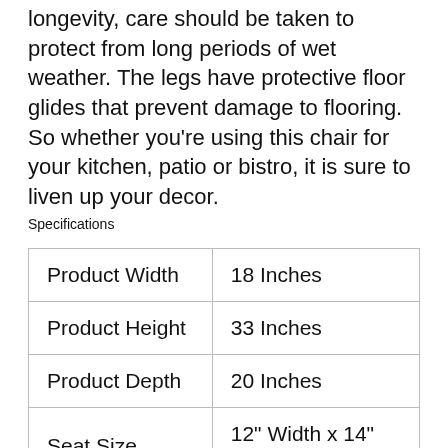longevity, care should be taken to protect from long periods of wet weather. The legs have protective floor glides that prevent damage to flooring. So whether you're using this chair for your kitchen, patio or bistro, it is sure to liven up your decor.
Specifications
| Product Width | 18 Inches |
| Product Height | 33 Inches |
| Product Depth | 20 Inches |
| Seat Size | 12" Width x 14" Depth |
| Back Size | 18" Width x 17" |